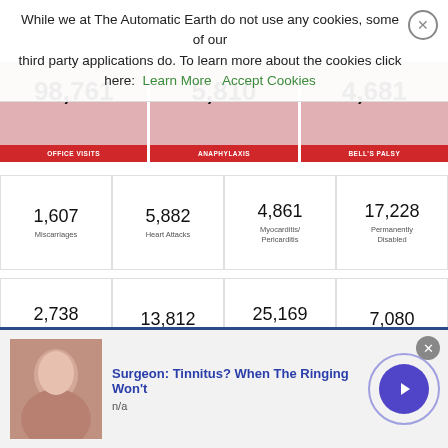While we at The Automatic Earth do not use any cookies, some of our third party applications do. To learn more about the cookies click here: Learn More  Accept Cookies
| 98,761 OFFICE VISITS | 5,810 ANAPHYLAXIS | 4,681 BELL'S PALSY |
| 1,607 Miscarriages | 5,882 Heart Attacks | 4,861 Myocarditis/Pericarditis | 17,228 Permanently Disabled |
| 2,738 Thrombocytopenia/Low Platelet | 13,812 Life Threatening | 25,169 Severe Allergic Reaction | 7,080 Shingles |
And its European sister, EudraVigilance, on August 14:
Surgeon: Tinnitus? When The Ringing Won't
n/a